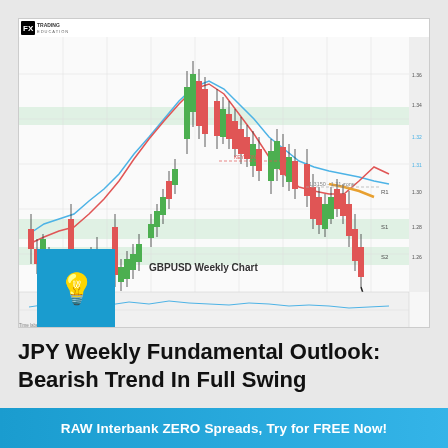[Figure (continuous-plot): GBPUSD Weekly Chart showing candlestick price action with moving averages (blue and red MA lines), a key support/resistance zone labeled '1.3150 - 1.31 zone', green highlighted support zones, a downward arrow indicating projected bearish move annotated 'GBPUSD now below 3 MAs and key technical zone', and a label '1' and '2' Fibonacci levels. FX Trading Revolution logo in top-left. Oscillator/indicator panel at bottom of chart.]
JPY Weekly Fundamental Outlook: Bearish Trend In Full Swing
RAW Interbank ZERO Spreads, Try for FREE Now!